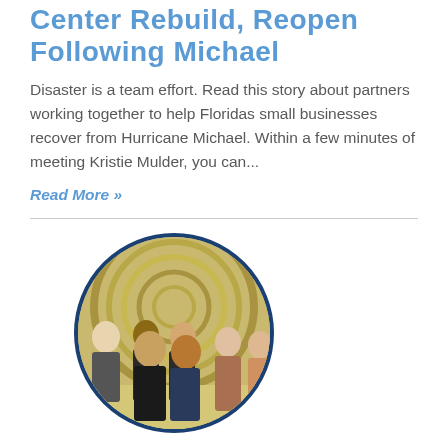Center Rebuild, Reopen Following Michael
Disaster is a team effort. Read this story about partners working together to help Floridas small businesses recover from Hurricane Michael. Within a few minutes of meeting Kristie Mulder, you can...
Read More »
[Figure (photo): A group of people posing together in front of a colorful abstract mural background, shown in a circular crop with a dark blue border.]
Symphonic Distribution